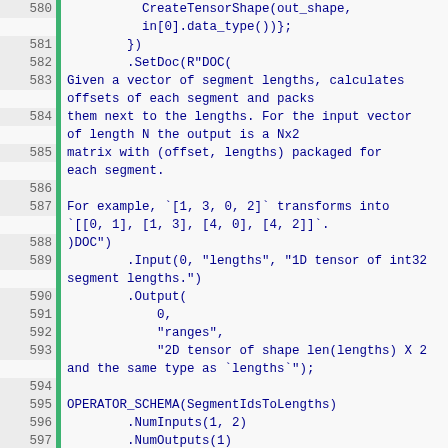[Figure (screenshot): Source code editor view showing lines 580-603 of C++ code related to operator schema definitions for segment length calculations. Code is displayed with line numbers on the left, a green gutter bar, and blue/red colored syntax.]